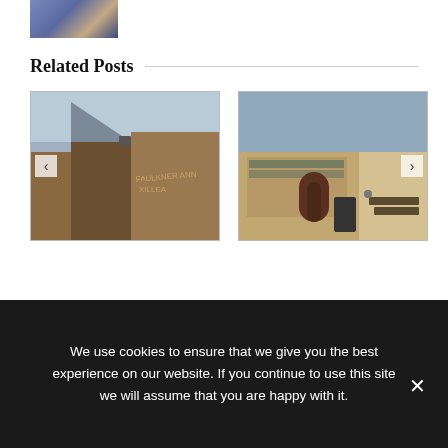[Figure (photo): Partial view of a person in a blue dotted top, cropped at top of page]
Related Posts
[Figure (photo): Exterior view of a brick building with angular roof against a cloudy sky, with navigation arrows]
[Figure (photo): Exterior view of a modern brick and glass building storefront with a bench and trash can outside, with navigation arrow]
We use cookies to ensure that we give you the best experience on our website. If you continue to use this site we will assume that you are happy with it.